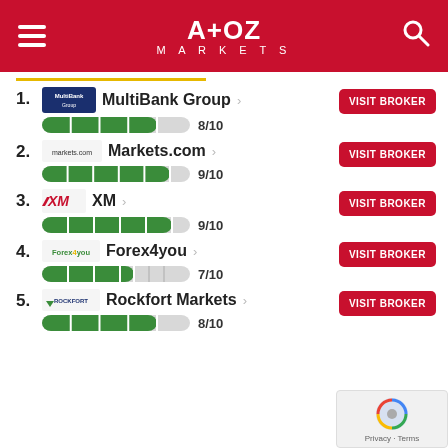A+OZ MARKETS
1. MultiBank Group 8/10
2. Markets.com 9/10
3. XM 9/10
4. Forex4you 7/10
5. Rockfort Markets 8/10